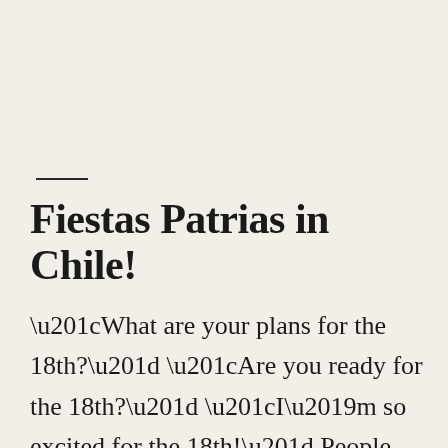Fiestas Patrias in Chile!
“What are your plans for the 18th?” “Are you ready for the 18th?” “I’m so excited for the 18th!” People were exploding with excitement about THE 18th as I sat in confusion. All I thought was, “Can